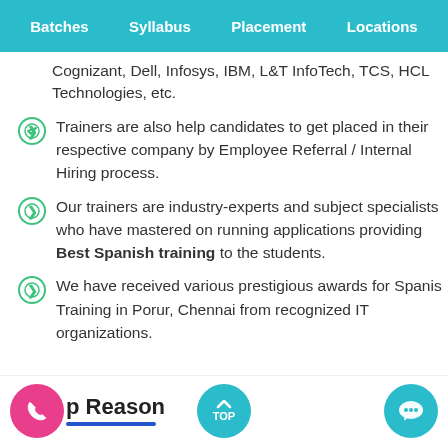Batches | Syllabus | Placement | Locations
Cognizant, Dell, Infosys, IBM, L&T InfoTech, TCS, HCL Technologies, etc.
Trainers are also help candidates to get placed in their respective company by Employee Referral / Internal Hiring process.
Our trainers are industry-experts and subject specialists who have mastered on running applications providing Best Spanish training to the students.
We have received various prestigious awards for Spanish Training in Porur, Chennai from recognized IT organizations.
p Reason